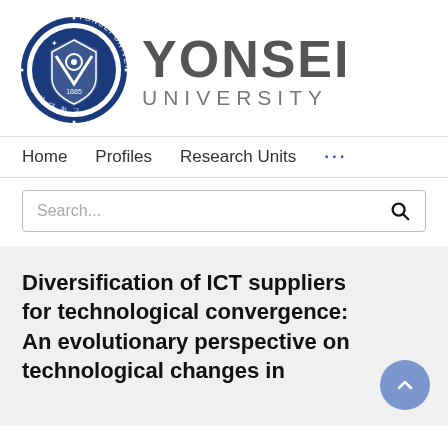[Figure (logo): Yonsei University logo with circular seal and text 'YONSEI UNIVERSITY']
Home   Profiles   Research Units   ...
Search...
Diversification of ICT suppliers for technological convergence: An evolutionary perspective on technological changes in